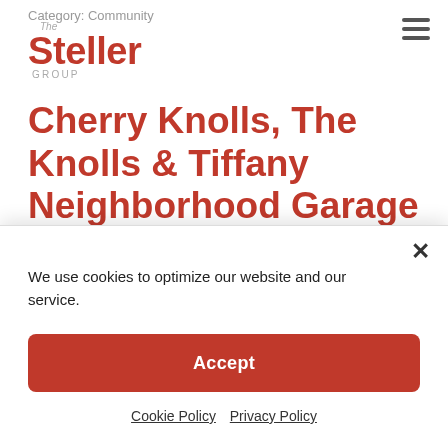Category: Community
[Figure (logo): The Steller Group logo with 'The' above 'Steller' in red bold text and 'GROUP' below in gray small caps]
Cherry Knolls, The Knolls & Tiffany Neighborhood Garage Sale 2022
Participating Homes! Thanks for joining us. Have a look around at the 100+ homes on our map!
Successfully Preparing Your Home for Sale
We use cookies to optimize our website and our service.
Accept
Cookie Policy  Privacy Policy